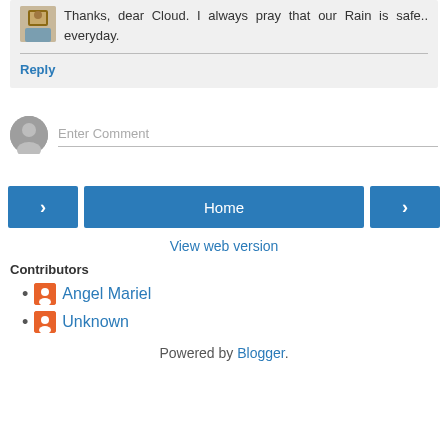Thanks, dear Cloud. I always pray that our Rain is safe.. everyday.
Reply
Enter Comment
Home
View web version
Contributors
Angel Mariel
Unknown
Powered by Blogger.